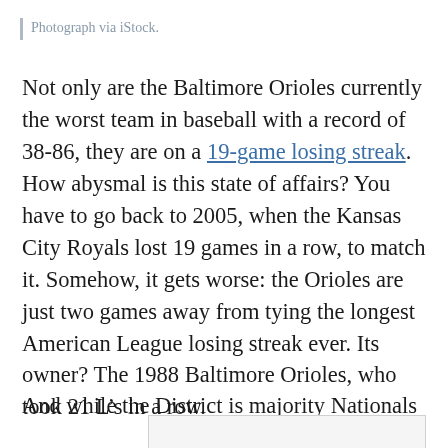Photograph via iStock.
Not only are the Baltimore Orioles currently the worst team in baseball with a record of 38-86, they are on a 19-game losing streak. How abysmal is this state of affairs? You have to go back to 2005, when the Kansas City Royals lost 19 games in a row, to match it. Somehow, it gets worse: the Orioles are just two games away from tying the longest American League losing streak ever. Its owner? The 1988 Baltimore Orioles, who took 21 L’s in a row.
And while the District is majority Nationals
[Figure (other): Partially visible image placeholder at the bottom of the page]